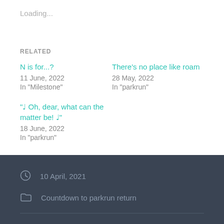Loading...
RELATED
N is for...?
11 June, 2022
In "Milestone"
There's no place like roam
28 May, 2022
In "parkrun"
"♩ Oh, dear, what can the matter be! ♩"
18 June, 2022
In "parkrun"
10 April, 2021
Countdown to parkrun return